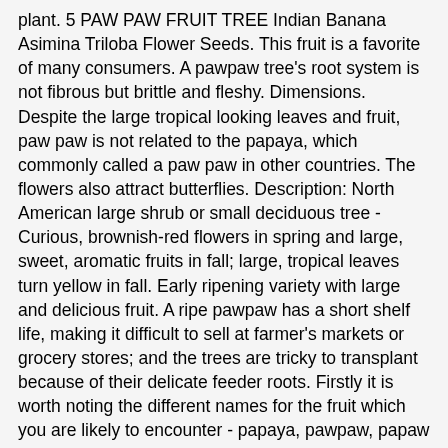plant. 5 PAW PAW FRUIT TREE Indian Banana Asimina Triloba Flower Seeds. This fruit is a favorite of many consumers. A pawpaw tree's root system is not fibrous but brittle and fleshy. Dimensions. Despite the large tropical looking leaves and fruit, paw paw is not related to the papaya, which commonly called a paw paw in other countries. The flowers also attract butterflies. Description: North American large shrub or small deciduous tree - Curious, brownish-red flowers in spring and large, sweet, aromatic fruits in fall; large, tropical leaves turn yellow in fall. Early ripening variety with large and delicious fruit. A ripe pawpaw has a short shelf life, making it difficult to sell at farmer's markets or grocery stores; and the trees are tricky to transplant because of their delicate feeder roots. Firstly it is worth noting the different names for the fruit which you are likely to encounter - papaya, pawpaw, papaw and paw paw (and many other combinations involving "p", "w" and "a"). POTOMAC. We use cookies to improve your experience. Unnamed paw paw seedlings from parents of improved cultivars. Pawpaw is the featured ingredient of a